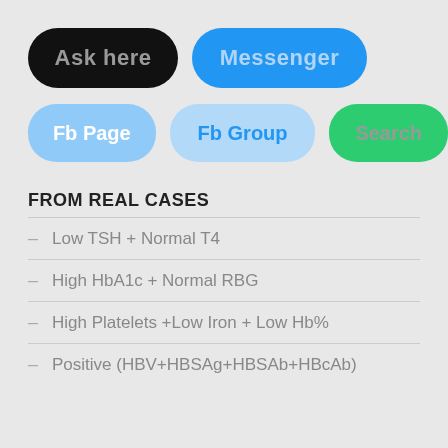[Figure (infographic): Row of buttons: 'Ask here' (black pill), 'Messenger' (blue pill)]
[Figure (infographic): Row of buttons: 'Fb Page' (light blue), 'Fb Group' (lighter blue), 'Search' (green)]
FROM REAL CASES
Low TSH + Normal T4
High HbA1c + Normal RBG
High Platelets +Low Iron + Low Hb%
Positive (HBV+HBSAg+HBSAb+HBcAb)